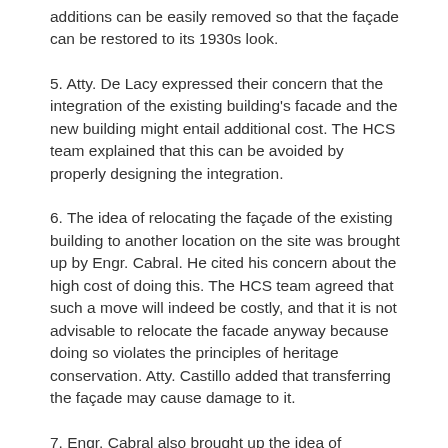additions can be easily removed so that the façade can be restored to its 1930s look.
5. Atty. De Lacy expressed their concern that the integration of the existing building's facade and the new building might entail additional cost. The HCS team explained that this can be avoided by properly designing the integration.
6. The idea of relocating the façade of the existing building to another location on the site was brought up by Engr. Cabral. He cited his concern about the high cost of doing this. The HCS team agreed that such a move will indeed be costly, and that it is not advisable to relocate the facade anyway because doing so violates the principles of heritage conservation. Atty. Castillo added that transferring the façade may cause damage to it.
7. Engr. Cabral also brought up the idea of incorporating a replica of the facade on the new